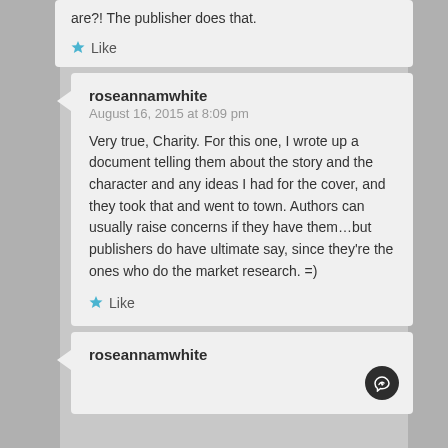are?! The publisher does that.
Like
roseannamwhite
August 16, 2015 at 8:09 pm
Very true, Charity. For this one, I wrote up a document telling them about the story and the character and any ideas I had for the cover, and they took that and went to town. Authors can usually raise concerns if they have them...but publishers do have ultimate say, since they're the ones who do the market research. =)
Like
roseannamwhite